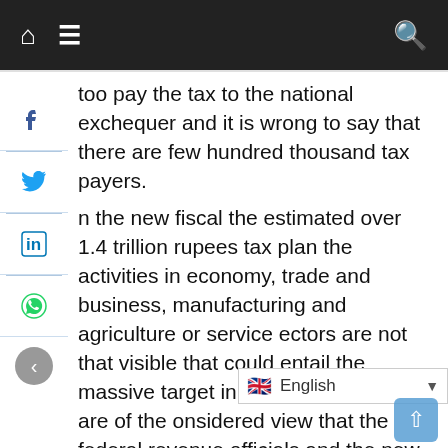Navigation bar with home, menu, and search icons
too pay the tax to the national exchequer and it is wrong to say that there are few hundred thousand tax payers. n the new fiscal the estimated over 1.4 trillion rupees tax plan the activities in economy, trade and business, manufacturing and agriculture or service ectors are not that visible that could entail the massive target in place. The analysts are of the onsidered view that the federal revenue officials and the new wizards of taxation are playing shots and that too may hit the wrong side of the economy. They hinted at that the tax burden, rising unemployment and increasing urban street crimes, downturn in exports and slow economic going are the factors that needed to be examined by PTI chief and his colleagues who wanto